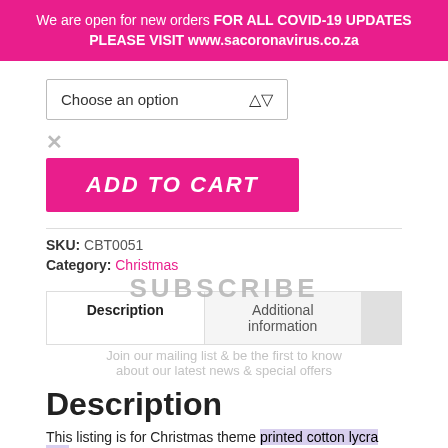We are open for new orders FOR ALL COVID-19 UPDATES PLEASE VISIT www.sacoronavirus.co.za
Choose an option
[Figure (other): X close button icon]
[Figure (other): ADD TO CART pink button]
SKU: CBT0051
Category: Christmas
Description | Additional information (tabs)
SUBSCRIBE
Join our mailing list & be the first to know about our latest news & special offers
Description
This listing is for Christmas theme printed cotton lycra set.